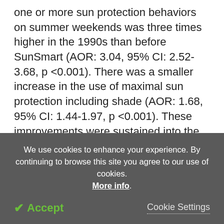one or more sun protection behaviors on summer weekends was three times higher in the 1990s than before SunSmart (AOR: 3.04, 95% CI: 2.52-3.68, p <0.001). There was a smaller increase in the use of maximal sun protection including shade (AOR: 1.68, 95% CI: 1.44-1.97, p <0.001). These improvements were sustained into the 2000s and continued to increase in the 2010s. However, Inferences on program effects are limited by self-reported data, the absence of a control population, the cross-sectional study design and not conducting the survey in all years. Other potential confounders may include increasing educational
We use cookies to enhance your experience. By continuing to browse this site you agree to our use of cookies. More info.
✔ Accept   Cookie Settings